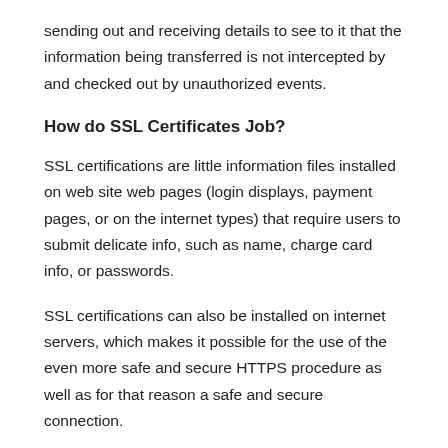sending out and receiving details to see to it that the information being transferred is not intercepted by and checked out by unauthorized events.
How do SSL Certificates Job?
SSL certifications are little information files installed on web site web pages (login displays, payment pages, or on the internet types) that require users to submit delicate info, such as name, charge card info, or passwords.
SSL certifications can also be installed on internet servers, which makes it possible for the use of the even more safe and secure HTTPS procedure as well as for that reason a safe and secure connection.
Basically, SSL certifications serve one objective: to bind with each other an identifier (domain name, web server name, or hostname)